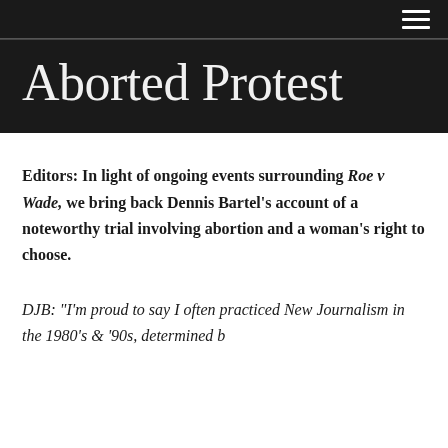Aborted Protest
Editors: In light of ongoing events surrounding Roe v Wade, we bring back Dennis Bartel's account of a noteworthy trial involving abortion and a woman's right to choose.
DJB: “I’m proud to say I often practiced New Journalism in the 1980’s & ‘90s, determined b